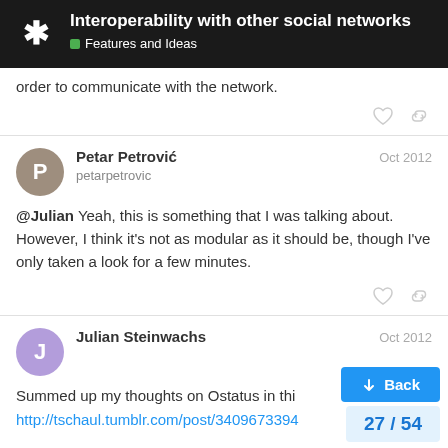Interoperability with other social networks — Features and Ideas
order to communicate with the network.
Petar Petrović petarpetrovic Oct 2012 @Julian Yeah, this is something that I was talking about. However, I think it's not as modular as it should be, though I've only taken a look for a few minutes.
Julian Steinwachs Oct 2012 Summed up my thoughts on Ostatus in thi… http://tschaul.tumblr.com/post/3409673394…